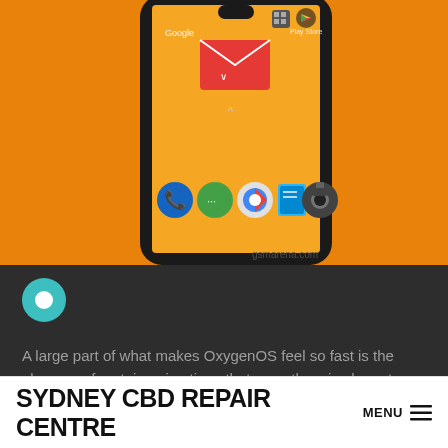[Figure (photo): Partial view of a OnePlus smartphone showing the home screen with Android app icons on an orange background, with gsmarena.com watermark]
A large part of what makes OxygenOS feel so fast is the absence of certain animations that you otherwise have to wait for while navigating the UI.
SYDNEY CBD REPAIR CENTRE MENU